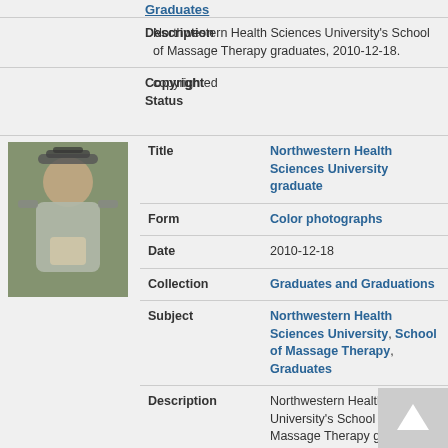Graduates (link, partial visible at top)
| Field | Value |
| --- | --- |
| Description | Northwestern Health Sciences University's School of Massage Therapy graduates, 2010-12-18. |
| Copyright Status | copyrighted |
[Figure (photo): Small thumbnail photo of a Northwestern Health Sciences University graduate in cap and gown holding a diploma]
| Field | Value |
| --- | --- |
| Title | Northwestern Health Sciences University graduate |
| Form | Color photographs |
| Date | 2010-12-18 |
| Collection | Graduates and Graduations |
| Subject | Northwestern Health Sciences University, School of Massage Therapy, Graduates |
| Description | Northwestern Health Sciences University's School of Massage Therapy graduate, 2010-12-18. |
| Copyright Status | copyrighted |